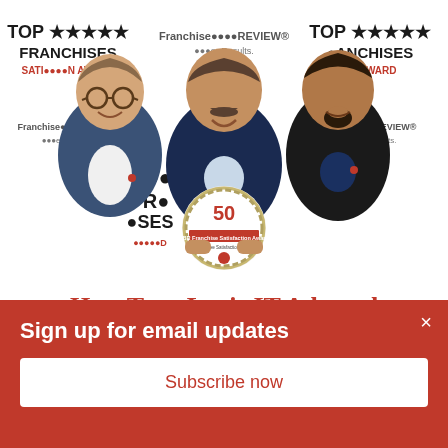[Figure (photo): Three men posing in front of a 'Top Franchises Satisfaction Award' and 'Franchise Business Review' branded backdrop. The center man is holding a circular award plaque with '50' on it. Left man in blue plaid blazer, center in navy suit, right in black jacket.]
How TeamLogic IT Adapted
Sign up for email updates
Subscribe now